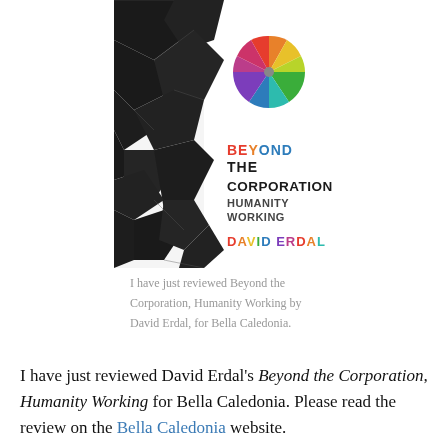[Figure (illustration): Book cover of 'Beyond the Corporation, Humanity Working' by David Erdal. Left side has dark geometric/triangular black shapes. Right side has a white background with a colorful pinwheel/umbrella graphic at top and the title text: 'BEYOND THE CORPORATION HUMANITY WORKING' and 'DAVID ERDAL' in colorful letters.]
I have just reviewed Beyond the Corporation, Humanity Working by David Erdal, for Bella Caledonia.
I have just reviewed David Erdal's Beyond the Corporation, Humanity Working for Bella Caledonia. Please read the review on the Bella Caledonia website.